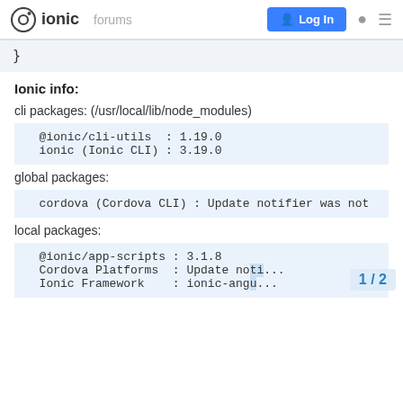ionic forums  Log In
}
Ionic info:
cli packages: (/usr/local/lib/node_modules)
@ionic/cli-utils  : 1.19.0
ionic (Ionic CLI) : 3.19.0
global packages:
cordova (Cordova CLI) : Update notifier was not
local packages:
@ionic/app-scripts : 3.1.8
Cordova Platforms  : Update no...
Ionic Framework    : ionic-angu...
1 / 2